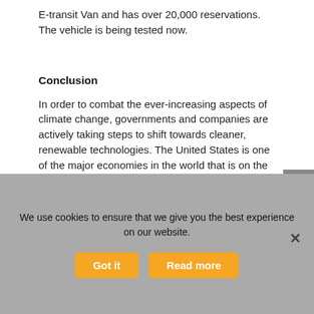E-transit Van and has over 20,000 reservations. The vehicle is being tested now.
Conclusion
In order to combat the ever-increasing aspects of climate change, governments and companies are actively taking steps to shift towards cleaner, renewable technologies. The United States is one of the major economies in the world that is on the forefront of moving in that direction especially with the policies enacted by the government this year. The United States is setting precedent and can become a leader in vehicle electrification.
In the meantime, no significant growth is observed in
We use cookies to ensure that we give you the best experience on our website.